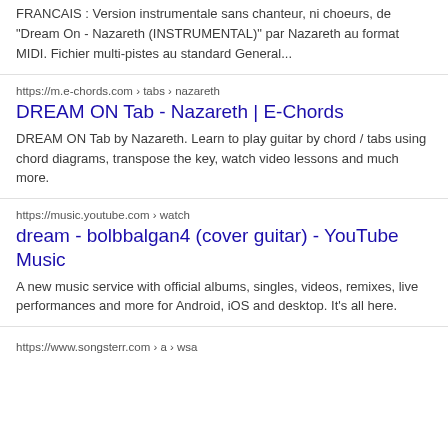FRANCAIS : Version instrumentale sans chanteur, ni choeurs, de "Dream On - Nazareth (INSTRUMENTAL)" par Nazareth au format MIDI. Fichier multi-pistes au standard General...
https://m.e-chords.com › tabs › nazareth
DREAM ON Tab - Nazareth | E-Chords
DREAM ON Tab by Nazareth. Learn to play guitar by chord / tabs using chord diagrams, transpose the key, watch video lessons and much more.
https://music.youtube.com › watch
dream - bolbbalgan4 (cover guitar) - YouTube Music
A new music service with official albums, singles, videos, remixes, live performances and more for Android, iOS and desktop. It's all here.
https://www.songsterr.com › a › wsa